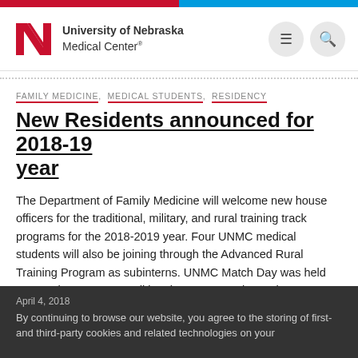[Figure (logo): University of Nebraska Medical Center logo with red N icon and text]
FAMILY MEDICINE, MEDICAL STUDENTS, RESIDENCY
New Residents announced for 2018-19 year
The Department of Family Medicine will welcome new house officers for the traditional, military, and rural training track programs for the 2018-2019 year. Four UNMC medical students will also be joining through the Advanced Rural Training Program as subinterns. UNMC Match Day was held on March 16, 2016. Traditional Program Darby Luckey – A.T. Still [...]
April 4, 2018
By continuing to browse our website, you agree to the storing of first- and third-party cookies and related technologies on your